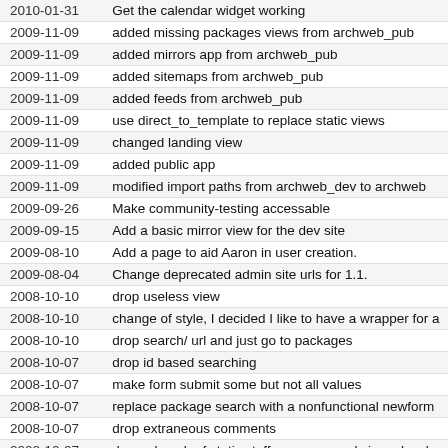| Date | Message |
| --- | --- |
| 2010-01-31 | Get the calendar widget working |
| 2009-11-09 | added missing packages views from archweb_pub |
| 2009-11-09 | added mirrors app from archweb_pub |
| 2009-11-09 | added sitemaps from archweb_pub |
| 2009-11-09 | added feeds from archweb_pub |
| 2009-11-09 | use direct_to_template to replace static views |
| 2009-11-09 | changed landing view |
| 2009-11-09 | added public app |
| 2009-11-09 | modified import paths from archweb_dev to archweb |
| 2009-09-26 | Make community-testing accessable |
| 2009-09-15 | Add a basic mirror view for the dev site |
| 2009-08-10 | Add a page to aid Aaron in user creation. |
| 2009-08-04 | Change deprecated admin site urls for 1.1. |
| 2008-10-10 | drop useless view |
| 2008-10-10 | change of style, I decided I like to have a wrapper for a |
| 2008-10-10 | drop search/ url and just go to packages |
| 2008-10-07 | drop id based searching |
| 2008-10-07 | make form submit some but not all values |
| 2008-10-07 | replace package search with a nonfunctional newform |
| 2008-10-07 | drop extraneous comments |
| 2008-10-07 | drop a bunch of static stuff necessary only in archweb_ |
| 2008-10-07 | remove reference to old cvs entry |
| 2008-10-05 | drop references to the wiki |
| 2008-10-05 | port admin to django 1.0 |
| 2008-08-16 | #10340 Integrated Signoffs completed but untested |
| 2008-08-06 | boilerplate for new signoffs code |